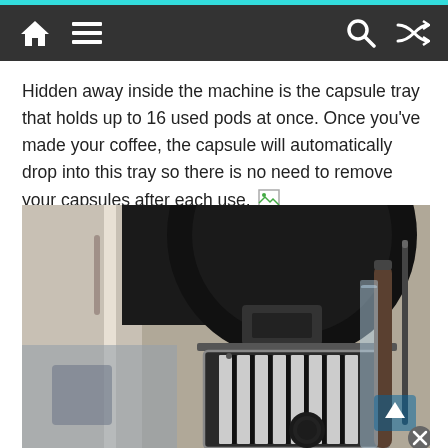Navigation bar with home, menu, search, and shuffle icons
Hidden away inside the machine is the capsule tray that holds up to 16 used pods at once. Once you've made your coffee, the capsule will automatically drop into this tray so there is no need to remove your capsules after each use.
[Figure (photo): Close-up photo of a Nespresso coffee machine showing the capsule tray area with a dark circular top, chrome drip tray with vertical slats, and accessories visible on the right side against a light background.]